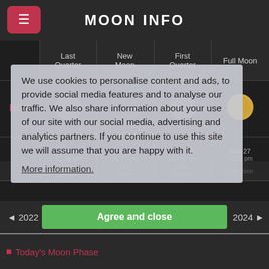MOON INFO
|  | Last Quarter | New Moon | First Quarter | Full Moon |
| --- | --- | --- | --- | --- |
| NOV | [moon phase image] | [moon phase image] | [moon phase image] | [moon phase image] |
|  | Nov 5
12:38 pm | Nov 13
01:27 pm | Nov 20
1:03:50 pm | Nov 27
01:16 pm |
|  | Last Quarter | New Moon | First Quarter | Full Moon |
|  |  |  |  | Nov 27
04:33 am |
|  |  | …:32 am |  | 10:40 pm |
We use cookies to personalise content and ads, to provide social media features and to analyse our traffic. We also share information about your use of our site with our social media, advertising and analytics partners. If you continue to use this site we will assume that you are happy with it.
More information.
◄ 2022
Agree and close
2024 ►
• Today's Moon Phase